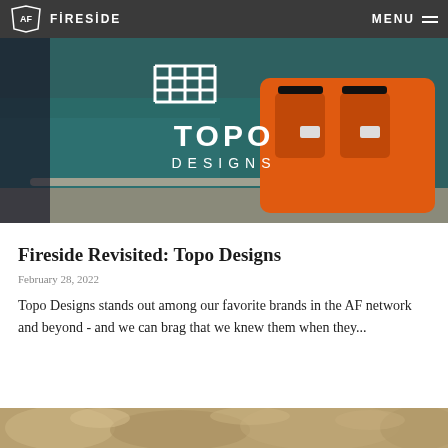AF FIRESIDE   MENU
[Figure (photo): Hero image showing Topo Designs logo overlaid on a photo of an orange life jacket/backpack on a boat with blue water in background]
Fireside Revisited: Topo Designs
February 28, 2022
Topo Designs stands out among our favorite brands in the AF network and beyond - and we can brag that we knew them when they...
[Figure (photo): Partial bottom image strip showing what appears to be a fluffy/furry texture in warm tones]